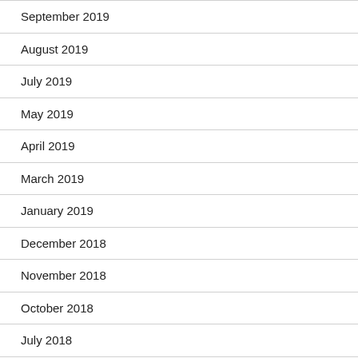September 2019
August 2019
July 2019
May 2019
April 2019
March 2019
January 2019
December 2018
November 2018
October 2018
July 2018
June 2018
April 2018